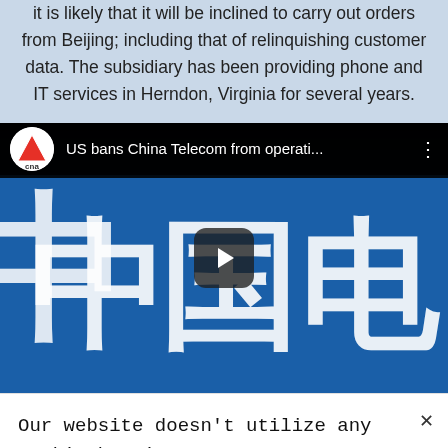to misuse by the Chinese government. That being the case, it is likely that it will be inclined to carry out orders from Beijing; including that of relinquishing customer data. The subsidiary has been providing phone and IT services in Herndon, Virginia for several years.
[Figure (screenshot): YouTube video embed showing CNA news video titled 'US bans China Telecom from operati...' with China Telecom signage (中国电信) in background, play button overlay]
Our website doesn't utilize any cookie but it does collect some basic data. Read more: